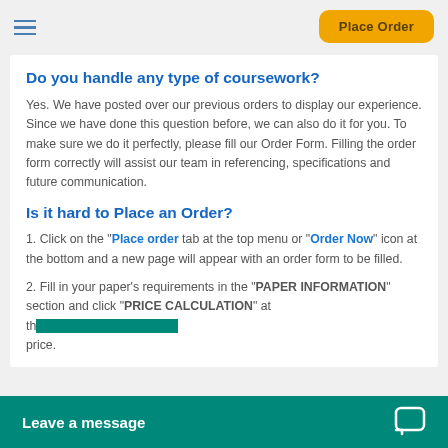Place Order
Do you handle any type of coursework?
Yes. We have posted over our previous orders to display our experience. Since we have done this question before, we can also do it for you. To make sure we do it perfectly, please fill our Order Form. Filling the order form correctly will assist our team in referencing, specifications and future communication.
Is it hard to Place an Order?
1. Click on the "Place order tab at the top menu or "Order Now" icon at the bottom and a new page will appear with an order form to be filled.
2. Fill in your paper's requirements in the "PAPER INFORMATION" section and click "PRICE CALCULATION" at th... price.
Leave a message